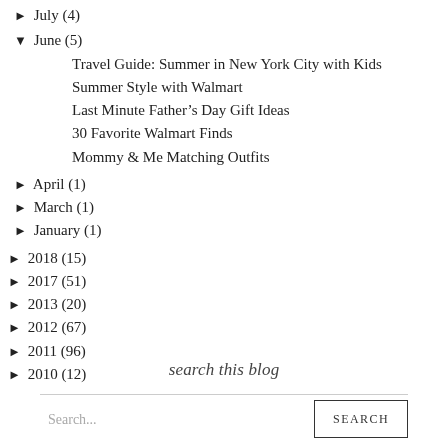► July (4)
▼ June (5)
Travel Guide: Summer in New York City with Kids
Summer Style with Walmart
Last Minute Father's Day Gift Ideas
30 Favorite Walmart Finds
Mommy & Me Matching Outfits
► April (1)
► March (1)
► January (1)
► 2018 (15)
► 2017 (51)
► 2013 (20)
► 2012 (67)
► 2011 (96)
► 2010 (12)
search this blog
Search... SEARCH